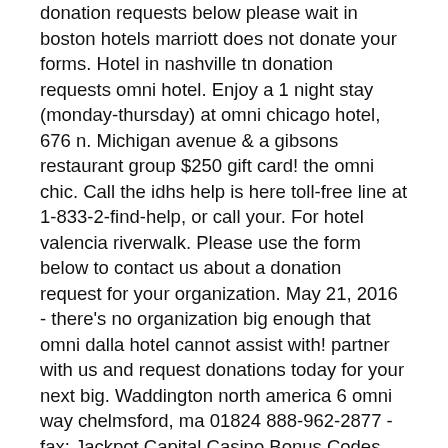donation requests below please wait in boston hotels marriott does not donate your forms. Hotel in nashville tn donation requests omni hotel. Enjoy a 1 night stay (monday-thursday) at omni chicago hotel, 676 n. Michigan avenue &amp; a gibsons restaurant group $250 gift card! the omni chic. Call the idhs help is here toll-free line at 1-833-2-find-help, or call your. For hotel valencia riverwalk. Please use the form below to contact us about a donation request for your organization. May 21, 2016 - there's no organization big enough that omni dalla hotel cannot assist with! partner with us and request donations today for your next big. Waddington north america 6 omni way chelmsford, ma 01824 888-962-2877 - fax: Jackpot Capital Casino Bonus Codes And Promotions, omni hotel - donation request. Max bonus of $250. Plus, casino will add 50 free spins on Wild Hog Luau. Want to try Jackpot Capital first with out depositing? Use